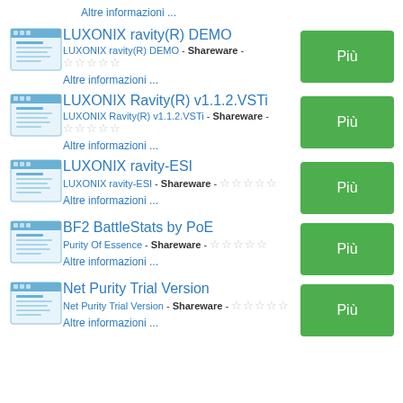Altre informazioni ...
LUXONIX ravity(R) DEMO
LUXONIX ravity(R) DEMO - Shareware -
Altre informazioni ...
LUXONIX Ravity(R) v1.1.2.VSTi
LUXONIX Ravity(R) v1.1.2.VSTi - Shareware -
Altre informazioni ...
LUXONIX ravity-ESI
LUXONIX ravity-ESI - Shareware -
Altre informazioni ...
BF2 BattleStats by PoE
Purity Of Essence - Shareware -
Altre informazioni ...
Net Purity Trial Version
Net Purity Trial Version - Shareware -
Altre informazioni ...